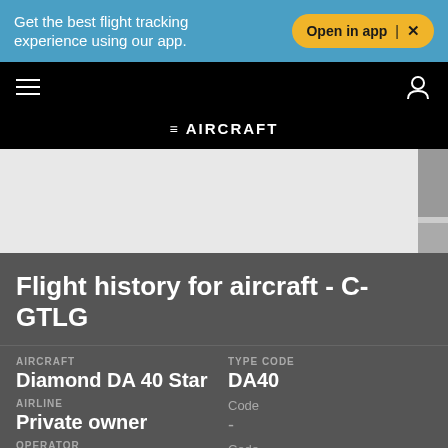Get the best flight tracking experience using our app.
Open in app  ×
[Figure (screenshot): Navigation bar with hamburger menu icon on left and user account icon on right on black background]
≡ AIRCRAFT
[Figure (map): Light gray map area with sidebar controls]
Flight history for aircraft - C-GTLG
| AIRCRAFT | TYPE CODE |
| --- | --- |
| Diamond DA 40 Star | DA40 |
| AIRLINE | Code |
| Private owner | - |
| OPERATOR | Code |
| - | - |
|  | MODE S |
|  | C077F9 |